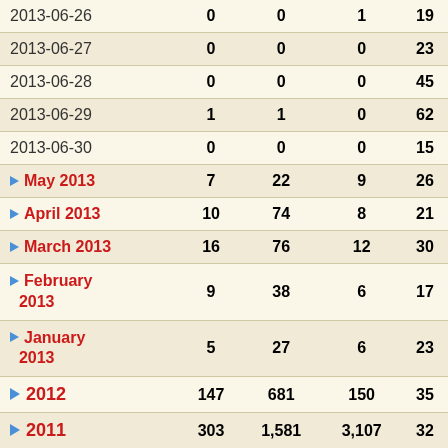|  |  |  |  |  |
| --- | --- | --- | --- | --- |
| 2013-06-26 | 0 | 0 | 1 | 19 |
| 2013-06-27 | 0 | 0 | 0 | 23 |
| 2013-06-28 | 0 | 0 | 0 | 45 |
| 2013-06-29 | 1 | 1 | 0 | 62 |
| 2013-06-30 | 0 | 0 | 0 | 15 |
| May 2013 | 7 | 22 | 9 | 26 |
| April 2013 | 10 | 74 | 8 | 21 |
| March 2013 | 16 | 76 | 12 | 30 |
| February 2013 | 9 | 38 | 6 | 17 |
| January 2013 | 5 | 27 | 6 | 23 |
| 2012 | 147 | 681 | 150 | 35 |
| 2011 | 303 | 1,581 | 3,107 | 32 |
| 2010 | 199 | 873 | 698 | 51 |
| 2009 | 33 | 83 | 124 | 5 |